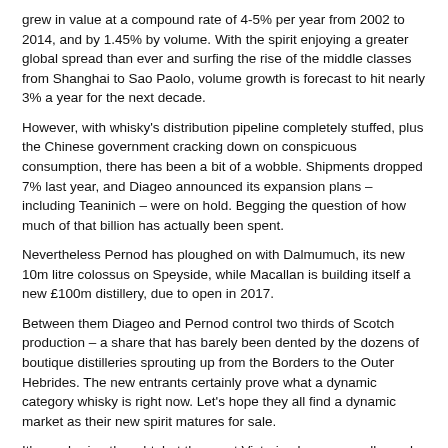grew in value at a compound rate of 4-5% per year from 2002 to 2014, and by 1.45% by volume. With the spirit enjoying a greater global spread than ever and surfing the rise of the middle classes from Shanghai to Sao Paolo, volume growth is forecast to hit nearly 3% a year for the next decade.
However, with whisky's distribution pipeline completely stuffed, plus the Chinese government cracking down on conspicuous consumption, there has been a bit of a wobble. Shipments dropped 7% last year, and Diageo announced its expansion plans – including Teaninich – were on hold. Begging the question of how much of that billion has actually been spent.
Nevertheless Pernod has ploughed on with Dalmumuch, its new 10m litre colossus on Speyside, while Macallan is building itself a new £100m distillery, due to open in 2017.
Between them Diageo and Pernod control two thirds of Scotch production – a share that has barely been dented by the dozens of boutique distilleries sprouting up from the Borders to the Outer Hebrides. The new entrants certainly prove what a dynamic category whisky is right now. Let's hope they all find a dynamic market as their new spirit matures for sale.
It's a sobering thought, but the great Victorian boom was all over by 1901.
Award-winning drinks columnist and author Tom Bruce-Gardyne began his career in the wine trade, managing exports for a major Sicilian producer.